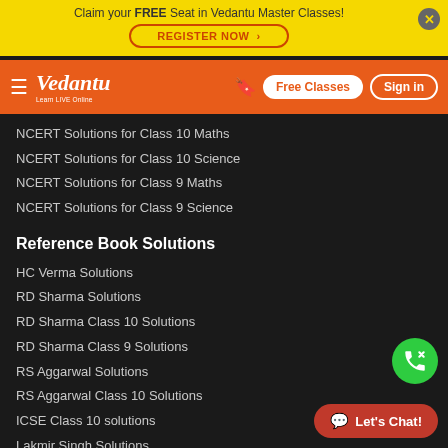Claim your FREE Seat in Vedantu Master Classes! REGISTER NOW
Vedantu — Learn LIVE Online | Free Classes | Sign in
NCERT Solutions for Class 10 Maths
NCERT Solutions for Class 10 Science
NCERT Solutions for Class 9 Maths
NCERT Solutions for Class 9 Science
Reference Book Solutions
HC Verma Solutions
RD Sharma Solutions
RD Sharma Class 10 Solutions
RD Sharma Class 9 Solutions
RS Aggarwal Solutions
RS Aggarwal Class 10 Solutions
ICSE Class 10 solutions
Lakmir Singh Solutions
Text Book Solutions
Important Formulas
Math Formula
Physics Formula